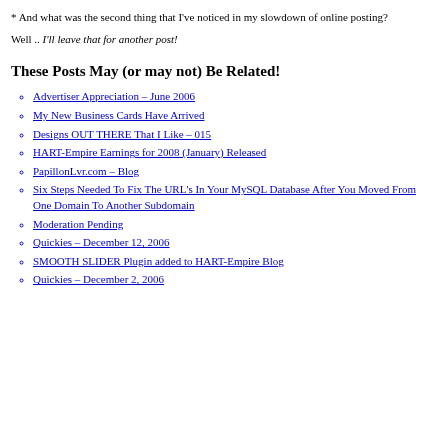* And what was the second thing that I've noticed in my slowdown of online posting?
Well .. I'll leave that for another post!
These Posts May (or may not) Be Related!
Advertiser Appreciation – June 2006
My New Business Cards Have Arrived
Designs OUT THERE That I Like – 015
HART-Empire Earnings for 2008 (January) Released
PapillonLvr.com – Blog
Six Steps Needed To Fix The URL's In Your MySQL Database After You Moved From One Domain To Another Subdomain
Moderation Pending
Quickies – December 12, 2006
SMOOTH SLIDER Plugin added to HART-Empire Blog
Quickies – December 2, 2006